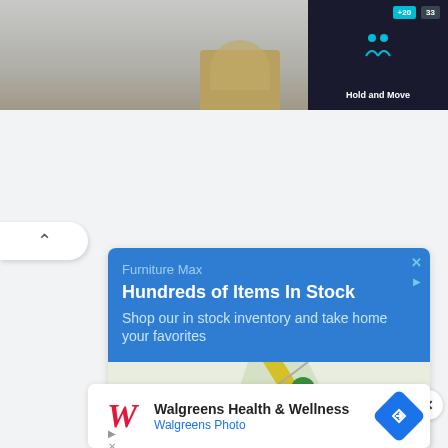[Figure (screenshot): Top portion showing a tree/outdoor image on left and a dark panel on top-right with 'Hold and Move' text and counter boxes showing +20 and 33]
[Figure (screenshot): Blue advertisement card for Furniture Max with text 'Hundreds of Items In Stock' and 'Shop our in stock inventory and take home your favorites', with a map showing McNair area with route 657 and Sunrise Valley Dr]
Furniture Max
Hundreds of Items In Stock
Shop our in stock inventory and take home your favorites
[Figure (map): Google Maps view showing McNair area with route 657, Sunrise Valley Dr, and a red location pin]
Walgreens Health & Wellness
Walgreens Photo